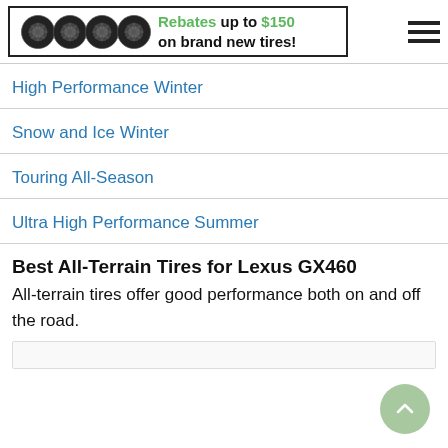[Figure (infographic): Banner advertisement showing four black tire wheels alongside text: 'Rebates up to $150 on brand new tires!' with a hamburger menu icon on the right.]
High Performance Winter
Snow and Ice Winter
Touring All-Season
Ultra High Performance Summer
Best All-Terrain Tires for Lexus GX460
All-terrain tires offer good performance both on and off the road.